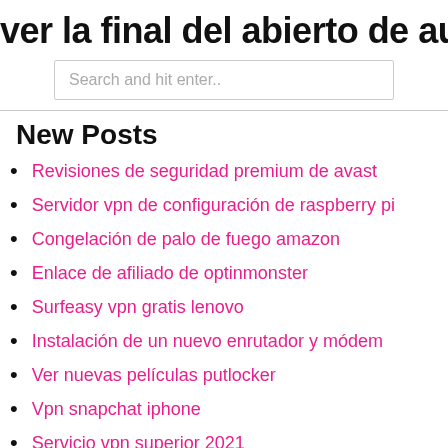ver la final del abierto de australia en
Search and hit enter..
New Posts
Revisiones de seguridad premium de avast
Servidor vpn de configuración de raspberry pi
Congelación de palo de fuego amazon
Enlace de afiliado de optinmonster
Surfeasy vpn gratis lenovo
Instalación de un nuevo enrutador y módem
Ver nuevas películas putlocker
Vpn snapchat iphone
Servicio vpn superior 2021